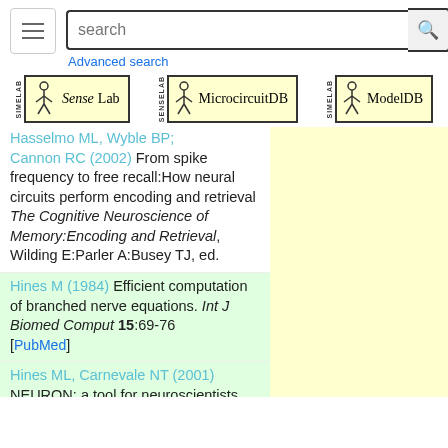[Figure (screenshot): Top navigation bar with hamburger menu button, search box with placeholder text 'search', search icon button, and 'Advanced search' link in blue.]
[Figure (logo): Three database logos side by side: SenseLab, MicrocircuitDB, and ModelDB — each with a stick figure above and a yellow-background bordered box with the database name.]
Hasselmo ML, Wyble BP; Cannon RC (2002) From spike frequency to free recall:How neural circuits perform encoding and retrieval The Cognitive Neuroscience of Memory:Encoding and Retrieval, Wilding E:Parler A:Busey TJ, ed.
Hines M (1984) Efficient computation of branched nerve equations. Int J Biomed Comput 15:69-76 [PubMed]
Hines ML, Carnevale NT (2001) NEURON: a tool for neuroscientists.